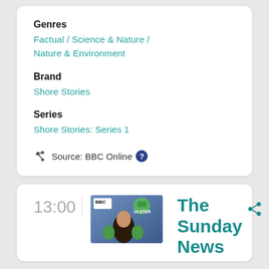Genres
Factual / Science & Nature / Nature & Environment
Brand
Shore Stories
Series
Shore Stories: Series 1
Source: BBC Online
13:00
[Figure (photo): BBC Radio Ulster logo with a woman presenter in front of green microphones]
The Sunday News